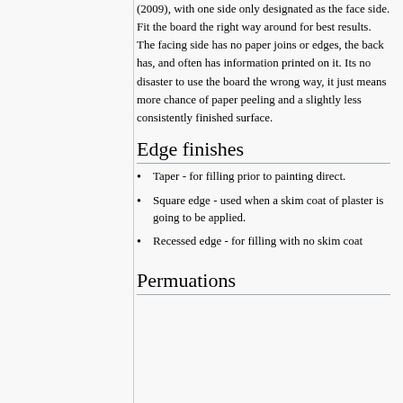(2009), with one side only designated as the face side. Fit the board the right way around for best results. The facing side has no paper joins or edges, the back has, and often has information printed on it. Its no disaster to use the board the wrong way, it just means more chance of paper peeling and a slightly less consistently finished surface.
Edge finishes
Taper - for filling prior to painting direct.
Square edge - used when a skim coat of plaster is going to be applied.
Recessed edge - for filling with no skim coat
Permuations